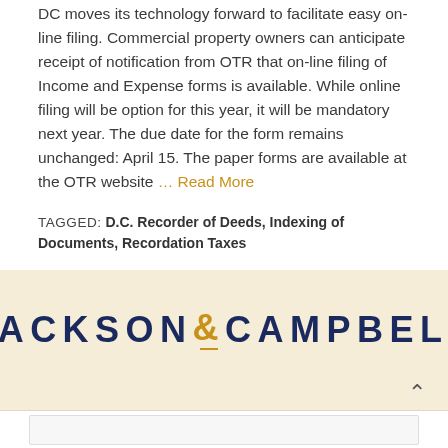DC moves its technology forward to facilitate easy on-line filing. Commercial property owners can anticipate receipt of notification from OTR that on-line filing of Income and Expense forms is available. While online filing will be option for this year, it will be mandatory next year. The due date for the form remains unchanged: April 15. The paper forms are available at the OTR website … Read More
TAGGED: D.C. Recorder of Deeds, Indexing of Documents, Recordation Taxes
[Figure (logo): Jackson & Campbell law firm logo in dark navy blue uppercase letters with an ampersand in gold/amber color and a gold underline beneath the ampersand, on a cream/beige background]